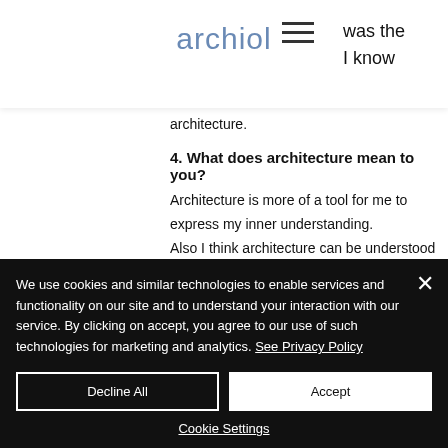archiol
architecture.
4. What does architecture mean to you?
Architecture is more of a tool for me to express my inner understanding.
Also I think architecture can be understood as creation of anything.
We use cookies and similar technologies to enable services and functionality on our site and to understand your interaction with our service. By clicking on accept, you agree to our use of such technologies for marketing and analytics. See Privacy Policy
Decline All
Accept
Cookie Settings